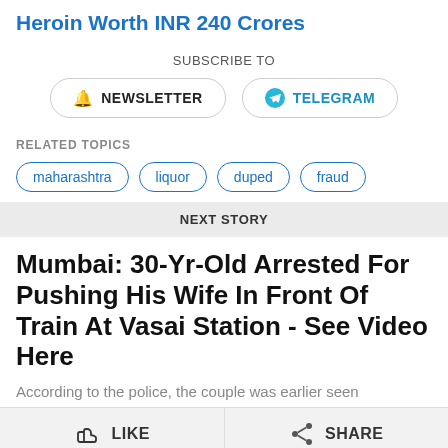Heroin Worth INR 240 Crores
SUBSCRIBE TO
NEWSLETTER   TELEGRAM
RELATED TOPICS
maharashtra
liquor
duped
fraud
NEXT STORY
Mumbai: 30-Yr-Old Arrested For Pushing His Wife In Front Of Train At Vasai Station - See Video Here
According to the police, the couple was earlier seen